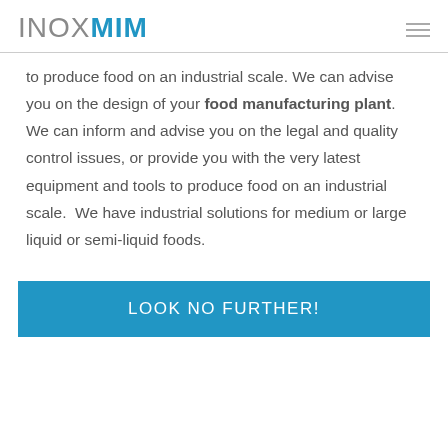INOXMIM
to produce food on an industrial scale. We can advise you on the design of your food manufacturing plant. We can inform and advise you on the legal and quality control issues, or provide you with the very latest equipment and tools to produce food on an industrial scale.  We have industrial solutions for medium or large liquid or semi-liquid foods.
LOOK NO FURTHER!